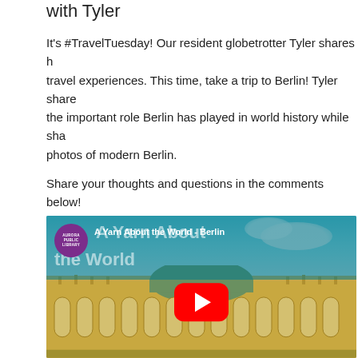with Tyler
It's #TravelTuesday! Our resident globetrotter Tyler shares his travel experiences. This time, take a trip to Berlin! Tyler shares the important role Berlin has played in world history while sharing photos of modern Berlin.
Share your thoughts and questions in the comments below!
[Figure (screenshot): YouTube video embed thumbnail showing 'A Yarn About the World - Berlin' by Aurora Public Library, with an image of a historic German palace/building (Sanssouci Palace in Potsdam) with a green dome and yellow facade, red YouTube play button in the center.]